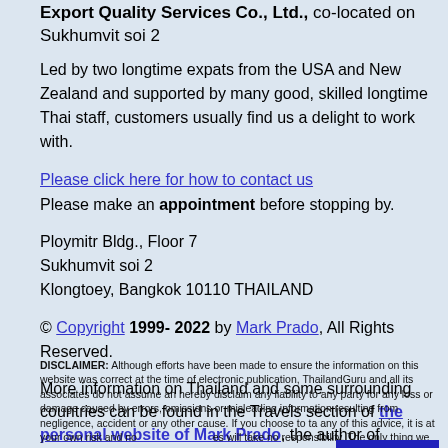Export Quality Services Co., Ltd., co-located on Sukhumvit soi 2
Led by two longtime expats from the USA and New Zealand and supported by many good, skilled longtime Thai staff, customers usually find us a delight to work with.
Please click here for how to contact us
Please make an appointment before stopping by.
Ploymitr Bldg., Floor 7
Sukhumvit soi 2
Klongtoey, Bangkok 10110 THAILAND
© Copyright 1999- 2022 by Mark Prado, All Rights Reserved.
More information on Thailand and some surrounding countries can be found in the Travels section of the personal website of Mark Prado, the author of ThailandGuru.com
DISCLAIMER: Although efforts have been made to ensure the information on this website was correct at the time of electronic publication, ThailandGuru and all its associates do not assume an hereby disclaim any liability to any party for any loss or damage caused by errors, omissions or misleading information resulting from negligence, accident or any other cause. If you choose to ta any of this advice, it is at your own risk and no... es will take no responsibility. The only thing we guara... bandwidth, memory and/or disk space, at leas... arily. Due to ...
scroll back to Top Menu